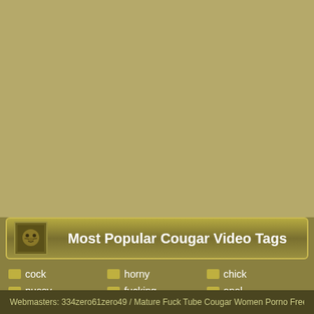Most Popular Cougar Video Tags
cock
pussy
sex
sexy
blonde
ass
babe
fucked
dick
brunette
horny
fucking
teen
hot
black
cum
tits
slut
blowjob
milf
chick
anal
big
hardcore
mouth
wet
amateur
hard
love
sucking
Webmasters: 334zero61zero49 / Mature Fuck Tube Cougar Women Porno Free Mature